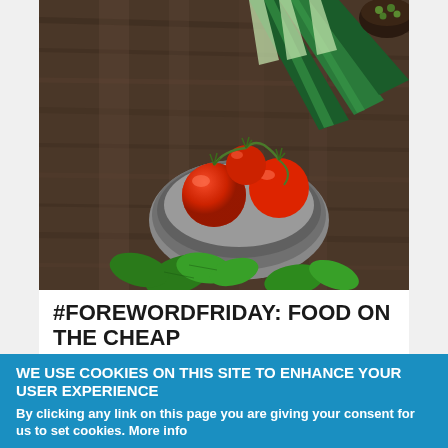[Figure (photo): Overhead view of fresh vegetables on a dark wooden surface: leeks in the upper right corner, a bowl of cherry tomatoes on the vine in the center-lower area, and basil leaves at the bottom, with a small bowl of peas in the upper right corner.]
#FOREWORDFRIDAY: FOOD ON THE CHEAP
By Jada Mosley / On March 1st, 2019
WE USE COOKIES ON THIS SITE TO ENHANCE YOUR USER EXPERIENCE
By clicking any link on this page you are giving your consent for us to set cookies. More info